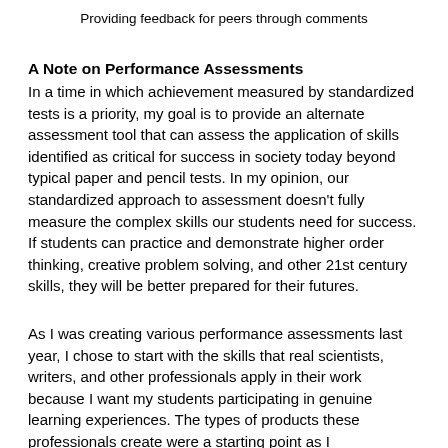Providing feedback for peers through comments
A Note on Performance Assessments
In a time in which achievement measured by standardized tests is a priority, my goal is to provide an alternate assessment tool that can assess the application of skills identified as critical for success in society today beyond typical paper and pencil tests. In my opinion, our standardized approach to assessment doesn't fully measure the complex skills our students need for success. If students can practice and demonstrate higher order thinking, creative problem solving, and other 21st century skills, they will be better prepared for their futures.
As I was creating various performance assessments last year, I chose to start with the skills that real scientists, writers, and other professionals apply in their work because I want my students participating in genuine learning experiences. The types of products these professionals create were a starting point as I